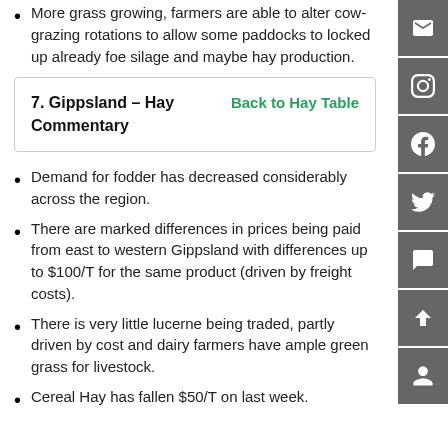More grass growing, farmers are able to alter cow-grazing rotations to allow some paddocks to locked up already foe silage and maybe hay production.
7. Gippsland – Hay Commentary
Back to Hay Table
Demand for fodder has decreased considerably across the region.
There are marked differences in prices being paid from east to western Gippsland with differences up to $100/T for the same product (driven by freight costs).
There is very little lucerne being traded, partly driven by cost and dairy farmers have ample green grass for livestock.
Cereal Hay has fallen $50/T on last week.